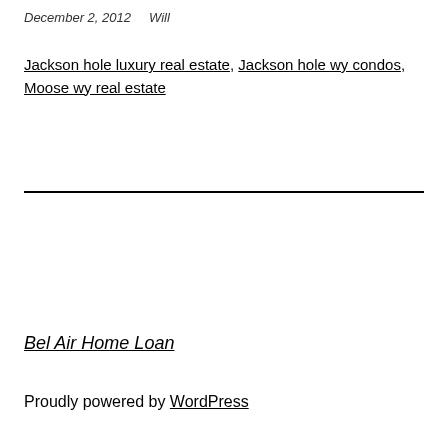December 2, 2012     Will
Jackson hole luxury real estate, Jackson hole wy condos, Moose wy real estate
Bel Air Home Loan
Proudly powered by WordPress